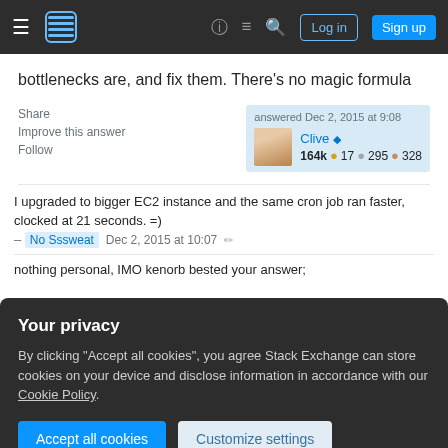Stack Exchange navigation bar with hamburger menu, logo, help, chat, search icons, Log in and Sign up buttons
bottlenecks are, and fix them. There's no magic formula
Share
Improve this answer
Follow
answered Dec 2, 2015 at 9:08
Clive ◆
164k • 17 • 295 • 328
I upgraded to bigger EC2 instance and the same cron job ran faster, clocked at 21 seconds. =)
– No Sssweat  Dec 2, 2015 at 10:07 ✏
nothing personal, IMO kenorb bested your answer;
Your privacy
By clicking "Accept all cookies", you agree Stack Exchange can store cookies on your device and disclose information in accordance with our Cookie Policy.
Accept all cookies
Customize settings